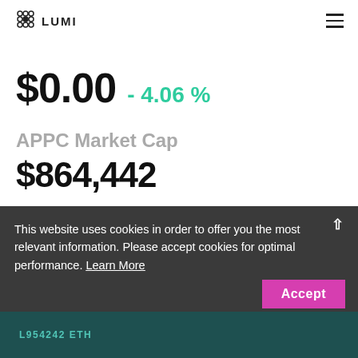LUMI
$0.00  - 4.06 %
APPC Market Cap
$864,442
This website uses cookies in order to offer you the most relevant information. Please accept cookies for optimal performance. Learn More
Accept